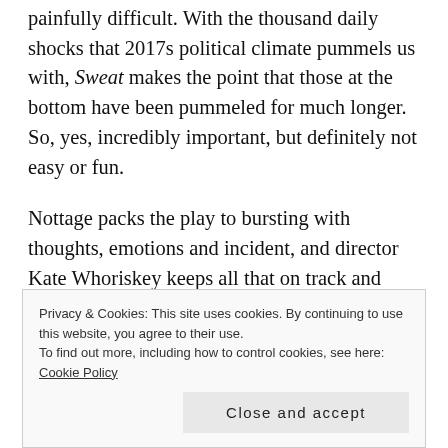painfully difficult. With the thousand daily shocks that 2017s political climate pummels us with, Sweat makes the point that those at the bottom have been pummeled for much longer. So, yes, incredibly important, but definitely not easy or fun.
Nottage packs the play to bursting with thoughts, emotions and incident, and director Kate Whoriskey keeps all that on track and moving lucidly and fluidly. With all the points of view Sweat tries to cover, it is by necessity an ensemble piece, and is blessed with a
Privacy & Cookies: This site uses cookies. By continuing to use this website, you agree to their use. To find out more, including how to control cookies, see here: Cookie Policy
Close and accept